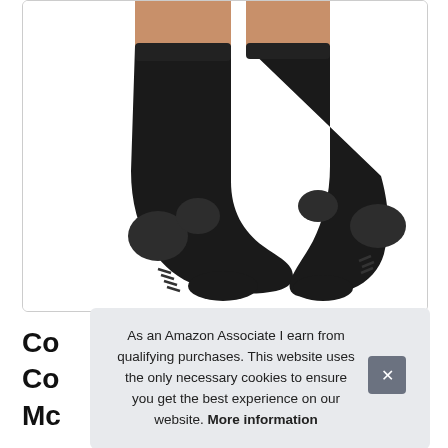[Figure (photo): Product photo showing a pair of black athletic/compression socks worn on feet, viewed from the back/heel angle against a white background. The socks feature dark grey textured panels on the heel and ankle areas.]
Co Co Me
As an Amazon Associate I earn from qualifying purchases. This website uses the only necessary cookies to ensure you get the best experience on our website. More information